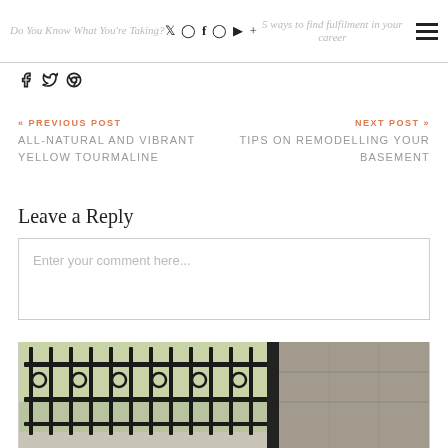Do You Know What You're Taking? [social icons] 5 ways to find fulfilment in your career [menu]
[Figure (other): Social share icons: Facebook, Twitter, Pinterest]
« PREVIOUS POST
ALL-NATURAL AND VIBRANT YELLOW TOURMALINE
NEXT POST »
TIPS ON REMODELLING YOUR BASEMENT
Leave a Reply
Enter your comment here...
[Figure (photo): Photo of ornate black iron gate with stone wall behind it, green foliage visible through the gate]